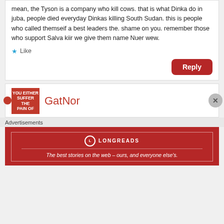mean, the Tyson is a company who kill cows. that is what Dinka do in juba, people died everyday Dinkas killing South Sudan. this is people who called themseif a best leaders the. shame on you. remember those who support Salva kiir we give them name Nuer wew.
Like
Reply
GatNor
Advertisements
[Figure (logo): Longreads advertisement banner: red background with Longreads logo and tagline 'The best stories on the web – ours, and everyone else's.']